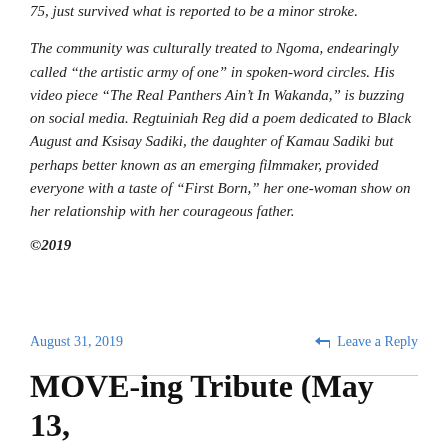75, just survived what is reported to be a minor stroke.
The community was culturally treated to Ngoma, endearingly called “the artistic army of one” in spoken-word circles. His video piece “The Real Panthers Ain’t In Wakanda,” is buzzing on social media. Regtuiniah Reg did a poem dedicated to Black August and Ksisay Sadiki, the daughter of Kamau Sadiki but perhaps better known as an emerging filmmaker, provided everyone with a taste of “First Born,” her one-woman show on her relationship with her courageous father.
©2019
August 31, 2019
Leave a Reply
MOVE-ing Tribute (May 13,